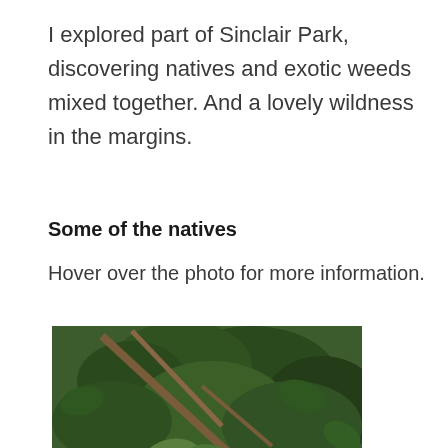I explored part of Sinclair Park, discovering natives and exotic weeds mixed together. And a lovely wildness in the margins.
Some of the natives
Hover over the photo for more information.
[Figure (photo): A photo of native plants in Sinclair Park showing large-leafed plants in the foreground, woody stems and branches, and dense green foliage in the background, with leaf litter on the ground.]